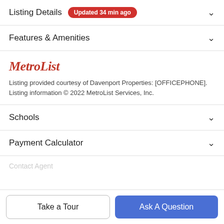Listing Details · Updated 34 min ago
Features & Amenities
[Figure (logo): MetroList logo in red italic bold text]
Listing provided courtesy of Davenport Properties: [OFFICEPHONE]. Listing information © 2022 MetroList Services, Inc.
Schools
Payment Calculator
Contact Agent
Take a Tour
Ask A Question